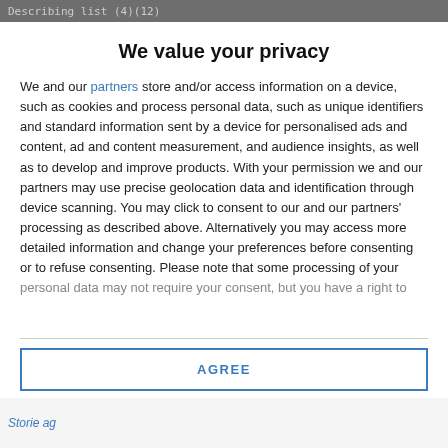Describing list (4)(12)
We value your privacy
We and our partners store and/or access information on a device, such as cookies and process personal data, such as unique identifiers and standard information sent by a device for personalised ads and content, ad and content measurement, and audience insights, as well as to develop and improve products. With your permission we and our partners may use precise geolocation data and identification through device scanning. You may click to consent to our and our partners' processing as described above. Alternatively you may access more detailed information and change your preferences before consenting or to refuse consenting. Please note that some processing of your personal data may not require your consent, but you have a right to
AGREE
MORE OPTIONS
Storie ag